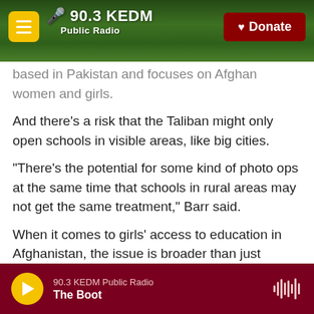[Figure (screenshot): 90.3 KEDM Public Radio website header with forest background, hamburger menu button, station logo, and red Donate button]
based in Pakistan and focuses on Afghan women and girls.
And there's a risk that the Taliban might only open schools in visible areas, like big cities.
"There's the potential for some kind of photo ops at the same time that schools in rural areas may not get the same treatment," Barr said.
When it comes to girls' access to education in Afghanistan, the issue is broader than just schools being open. Class attendance for girls in provinces where schools were open dropped significantly.
90.3 KEDM Public Radio
The Boot